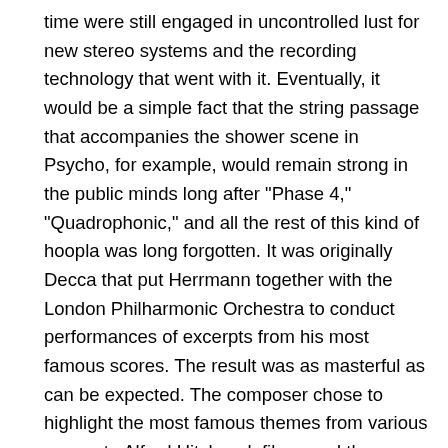time were still engaged in uncontrolled lust for new stereo systems and the recording technology that went with it. Eventually, it would be a simple fact that the string passage that accompanies the shower scene in Psycho, for example, would remain strong in the public minds long after "Phase 4," "Quadrophonic," and all the rest of this kind of hoopla was long forgotten. It was originally Decca that put Herrmann together with the London Philharmonic Orchestra to conduct performances of excerpts from his most famous scores. The result was as masterful as can be expected. The composer chose to highlight the most famous themes from various scores to Alfred Hitchcock films, and the performances are indeed quite different than what was done for the actual soundtrack recordings. With the exception of North by Northwest, which gets short shrift, the films in question are well-served by these short suites, put together carefully and artistically by the only person who really has the right to tinker around like this, the composer himself. Fans of